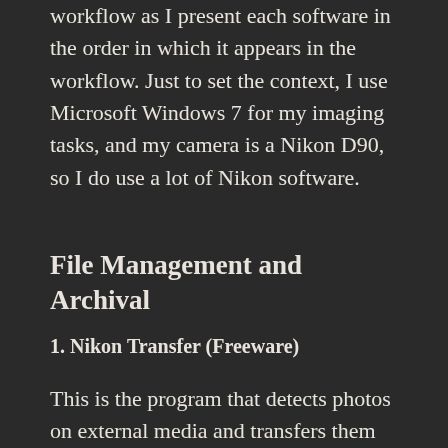workflow as I present each software in the order in which it appears in the workflow. Just to set the context, I use Microsoft Windows 7 for my imaging tasks, and my camera is a Nikon D90, so I do use a lot of Nikon software.
File Management and Archival
1. Nikon Transfer (Freeware)
This is the program that detects photos on external media and transfers them to a local disk or other